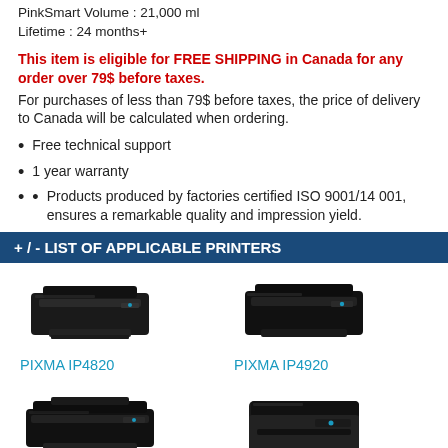PinkSmart Volume : 21,000 ml
Lifetime : 24 months+
This item is eligible for FREE SHIPPING in Canada for any order over 79$ before taxes.
For purchases of less than 79$ before taxes, the price of delivery to Canada will be calculated when ordering.
Free technical support
1 year warranty
Products produced by factories certified ISO 9001/14 001, ensures a remarkable quality and impression yield.
+ / - LIST OF APPLICABLE PRINTERS
[Figure (photo): Canon PIXMA IP4820 printer photo]
PIXMA IP4820
[Figure (photo): Canon PIXMA IP4920 printer photo]
PIXMA IP4920
[Figure (photo): Canon PIXMA IX6520 printer photo]
PIXMA IX6520
[Figure (photo): Canon PIXMA MG5120 printer photo]
PIXMA MG5120